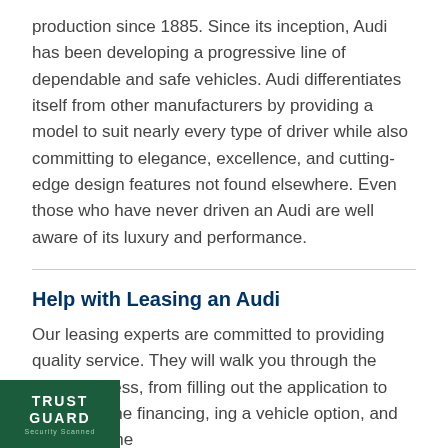production since 1885. Since its inception, Audi has been developing a progressive line of dependable and safe vehicles. Audi differentiates itself from other manufacturers by providing a model to suit nearly every type of driver while also committing to elegance, excellence, and cutting-edge design features not found elsewhere. Even those who have never driven an Audi are well aware of its luxury and performance.
Help with Leasing an Audi
Our leasing experts are committed to providing quality service. They will walk you through the entire process, from filling out the application to arranging the financing, ing a vehicle option, and delivering the
[Figure (logo): Trust Guard Security Scanned logo — green background with white bold text reading TRUST GUARD and small subtitle text.]